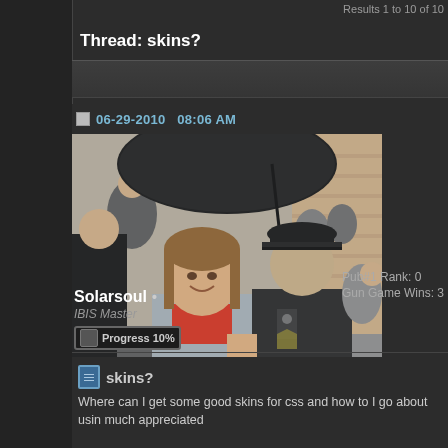Results 1 to 10 of 10
Thread: skins?
06-29-2010   08:06 AM
[Figure (photo): Photo of a young woman in a gray jacket smiling next to a person in a police uniform, both under a dark umbrella, outdoors at a crowded event]
Solarsoul •
IBIS Master
Progress 10%
Pub#1 Rank: 0
Gun Game Wins: 3
skins?
Where can I get some good skins for css and how to I go about usin much appreciated